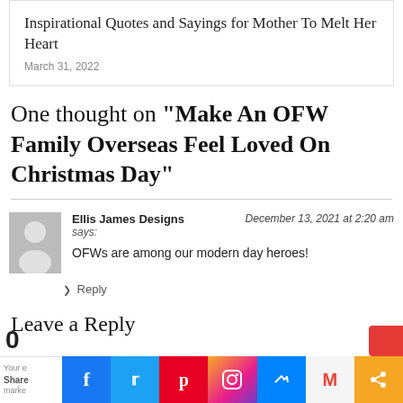Inspirational Quotes and Sayings for Mother To Melt Her Heart
March 31, 2022
One thought on “Make An OFW Family Overseas Feel Loved On Christmas Day”
Ellis James Designs says: December 13, 2021 at 2:20 am
OFWs are among our modern day heroes!
❯ Reply
Leave a Reply